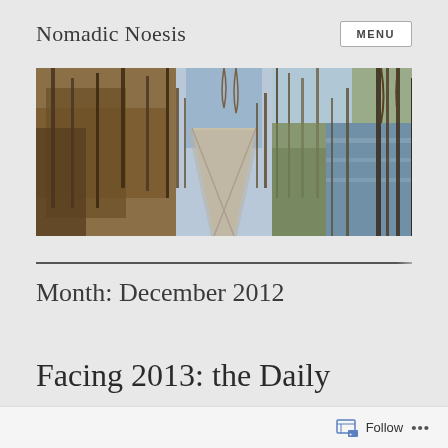Nomadic Noesis
[Figure (photo): Panoramic photo of a paved path/boardwalk trail through bare winter trees with a blue sky and water visible on the right side]
Month: December 2012
Facing 2013: the Daily
Follow ...